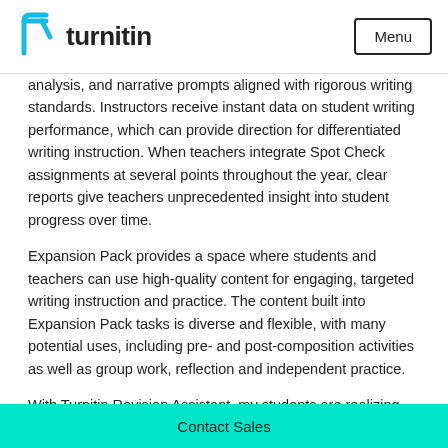turnitin | Menu
analysis, and narrative prompts aligned with rigorous writing standards. Instructors receive instant data on student writing performance, which can provide direction for differentiated writing instruction. When teachers integrate Spot Check assignments at several points throughout the year, clear reports give teachers unprecedented insight into student progress over time.
Expansion Pack provides a space where students and teachers can use high-quality content for engaging, targeted writing instruction and practice. The content built into Expansion Pack tasks is diverse and flexible, with many potential uses, including pre- and post-composition activities as well as group work, reflection and independent practice.
With Turnitin Revision Assistant, my students are realizing the
Contact Sales